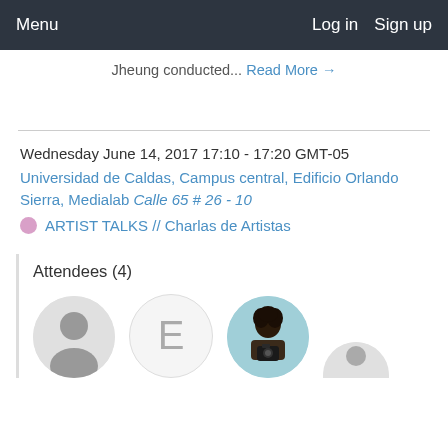Menu   Log in   Sign up
Jheung conducted... Read More →
Wednesday June 14, 2017 17:10 - 17:20 GMT-05
Universidad de Caldas, Campus central, Edificio Orlando Sierra, Medialab Calle 65 # 26 - 10
ARTIST TALKS // Charlas de Artistas
Attendees (4)
[Figure (photo): Three attendee avatars: a default silhouette avatar, a letter E placeholder avatar, and a photo of a person holding a camera with teal background. A fourth partial avatar is visible at the bottom.]